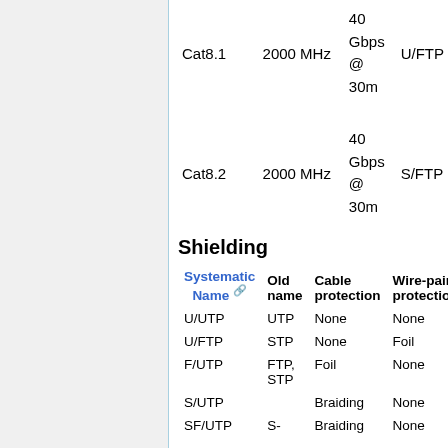|  |  | Speed |  |
| --- | --- | --- | --- |
| Cat8.1 | 2000 MHz | 40 Gbps @ 30m | U/FTP |
| Cat8.2 | 2000 MHz | 40 Gbps @ 30m | S/FTP |
Shielding
| Systematic Name | Old name | Cable protection | Wire-pair protection |
| --- | --- | --- | --- |
| U/UTP | UTP | None | None |
| U/FTP | STP | None | Foil |
| F/UTP | FTP, STP | Foil | None |
| S/UTP |  | Braiding | None |
| SF/UTP | S- | Braiding | None |